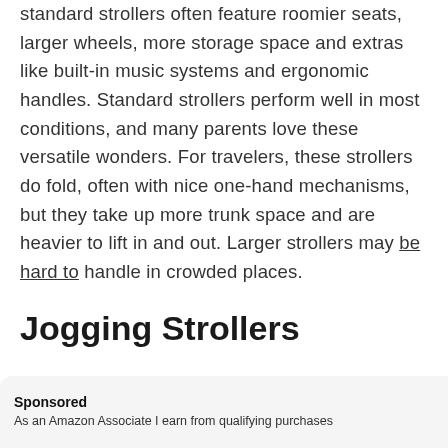standard strollers often feature roomier seats, larger wheels, more storage space and extras like built-in music systems and ergonomic handles. Standard strollers perform well in most conditions, and many parents love these versatile wonders. For travelers, these strollers do fold, often with nice one-hand mechanisms, but they take up more trunk space and are heavier to lift in and out. Larger strollers may be hard to handle in crowded places.
Jogging Strollers
Sponsored
As an Amazon Associate I earn from qualifying purchases